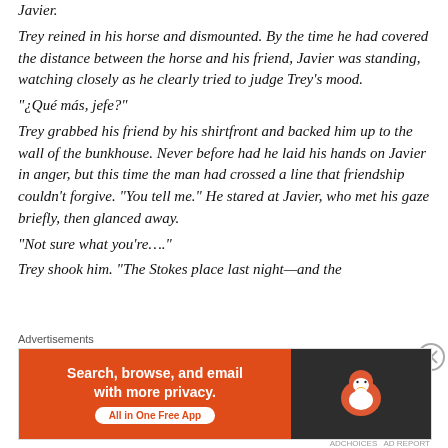Javier. Trey reined in his horse and dismounted. By the time he had covered the distance between the horse and his friend, Javier was standing, watching closely as he clearly tried to judge Trey's mood. “¿Qué más, jefe?” Trey grabbed his friend by his shirtfront and backed him up to the wall of the bunkhouse. Never before had he laid his hands on Javier in anger, but this time the man had crossed a line that friendship couldn’t forgive. “You tell me.” He stared at Javier, who met his gaze briefly, then glanced away. “Not sure what you’re….” Trey shook him. “The Stokes place last night—and the
Advertisements
[Figure (other): DuckDuckGo advertisement banner: orange left panel with text 'Search, browse, and email with more privacy. All in One Free App', dark right panel with DuckDuckGo duck logo.]